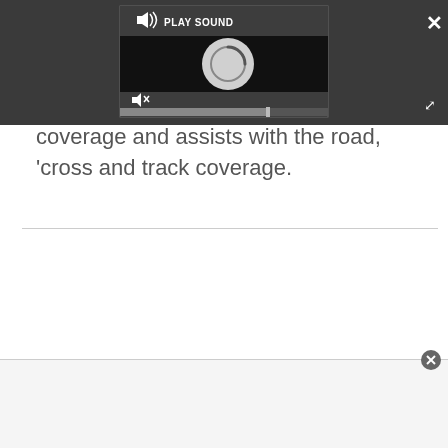[Figure (screenshot): A media player UI widget with 'PLAY SOUND' label, speaker icon, a circular loading/spinner graphic, mute button, and a progress bar. Dark background with gray controls.]
coverage and assists with the road, 'cross and track coverage.